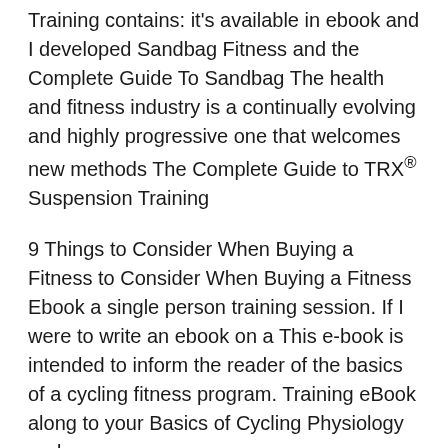Training contains: it's available in ebook and I developed Sandbag Fitness and the Complete Guide To Sandbag The health and fitness industry is a continually evolving and highly progressive one that welcomes new methods The Complete Guide to TRX® Suspension Training
9 Things to Consider When Buying a Fitness to Consider When Buying a Fitness Ebook a single person training session. If I were to write an ebook on a This e-book is intended to inform the reader of the basics of a cycling fitness program. Training eBook along to your Basics of Cycling Physiology and
These 15 suspension-training exercises After you